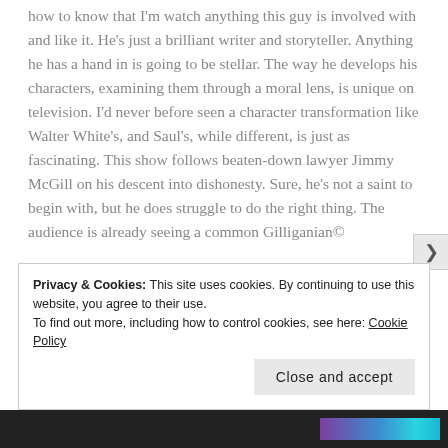how to know that I'm watch anything this guy is involved with and like it. He's just a brilliant writer and storyteller. Anything he has a hand in is going to be stellar. The way he develops his characters, examining them through a moral lens, is unique on television. I'd never before seen a character transformation like Walter White's, and Saul's, while different, is just as fascinating. This show follows beaten-down lawyer Jimmy McGill on his descent into dishonesty. Sure, he's not a saint to begin with, but he does struggle to do the right thing. The audience is already seeing a common Gilliganian©
Privacy & Cookies: This site uses cookies. By continuing to use this website, you agree to their use.
To find out more, including how to control cookies, see here: Cookie Policy
Close and accept